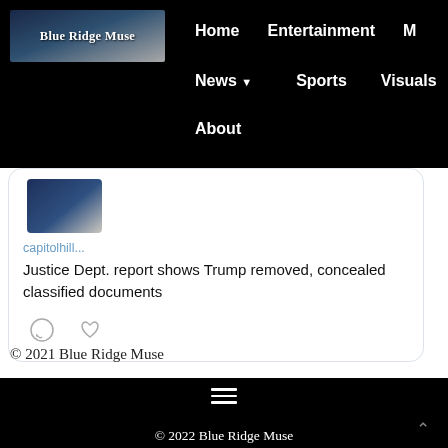Blue Ridge Muse | Home | Entertainment | M... | News | Sports | Visuals | About
[Figure (screenshot): Partial tweet card showing a blue-themed image thumbnail, handle 'capitolhill...', and headline text 'Justice Dept. report shows Trump removed, concealed classified documents' with comment and like icons below.]
© 2021 Blue Ridge Muse
© 2022 Blue Ridge Muse